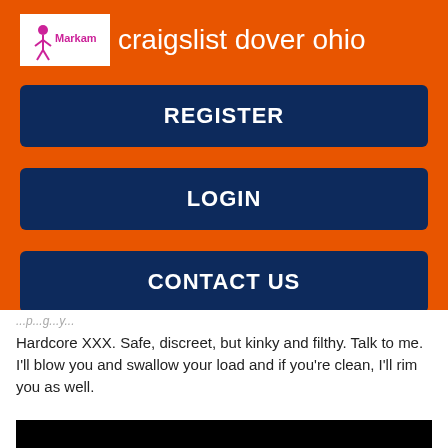craigslist dover ohio
[Figure (logo): Markam logo with stick figure in white box]
REGISTER
LOGIN
CONTACT US
Hardcore XXX. Safe, discreet, but kinky and filthy. Talk to me. I'll blow you and swallow your load and if you're clean, I'll rim you as well.
[Figure (photo): Black rectangle image placeholder]